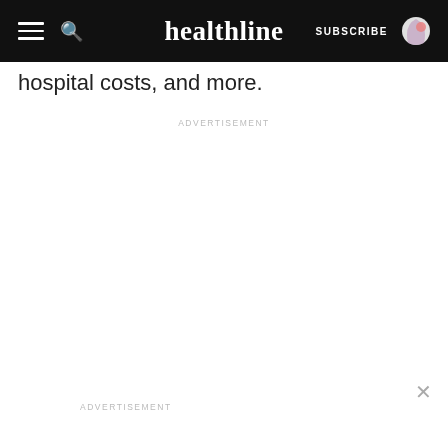healthline | SUBSCRIBE
hospital costs, and more.
ADVERTISEMENT
ADVERTISEMENT